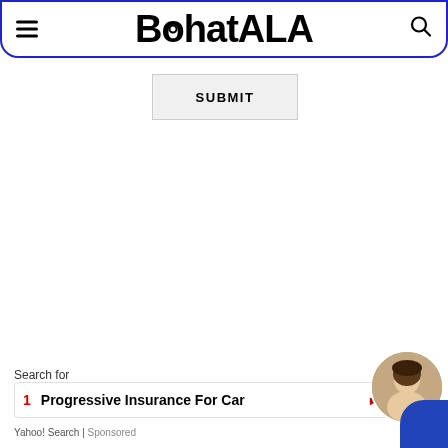BohatALA
SUBMIT
Search for
1 Progressive Insurance For Car
Yahoo! Search | Sponsored